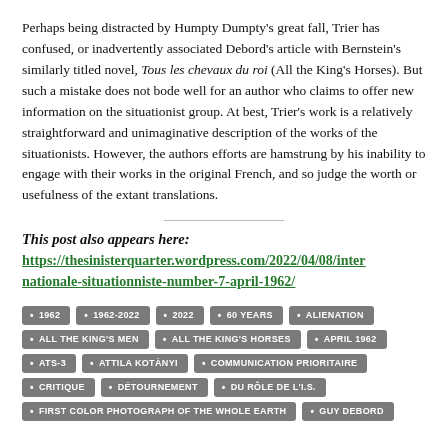Perhaps being distracted by Humpty Dumpty's great fall, Trier has confused, or inadvertently associated Debord's article with Bernstein's similarly titled novel, Tous les chevaux du roi (All the King's Horses). But such a mistake does not bode well for an author who claims to offer new information on the situationist group. At best, Trier's work is a relatively straightforward and unimaginative description of the works of the situationists. However, the authors efforts are hamstrung by his inability to engage with their works in the original French, and so judge the worth or usefulness of the extant translations.
This post also appears here:
https://thesinisterquarter.wordpress.com/2022/04/08/internationale-situationniste-number-7-april-1962/
1962
1962-2022
2022
60 YEARS
ALIENATION
ALL THE KING'S MEN
ALL THE KING'S HORSES
APRIL 1962
ATS-3
ATTILA KOTÀNYI
COMMUNICATION PRIORITAIRE
CRITIQUE
DÉTOURNEMENT
DU RÔLE DE L'I.S.
FIRST COLOR PHOTOGRAPH OF THE WHOLE EARTH
GUY DEBORD